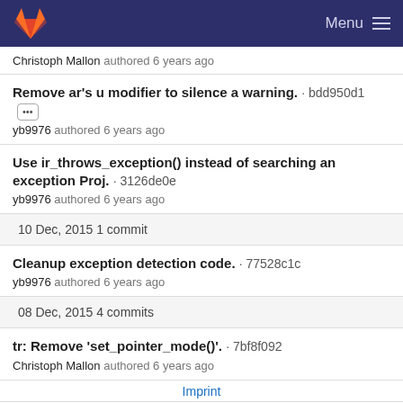Menu
Christoph Mallon authored 6 years ago
Remove ar's u modifier to silence a warning. · bdd950d1
yb9976 authored 6 years ago
Use ir_throws_exception() instead of searching an exception Proj. · 3126de0e
yb9976 authored 6 years ago
10 Dec, 2015 1 commit
Cleanup exception detection code. · 77528c1c
yb9976 authored 6 years ago
08 Dec, 2015 4 commits
tr: Remove 'set_pointer_mode()'. · 7bf8f092
Christoph Mallon authored 6 years ago
Imprint